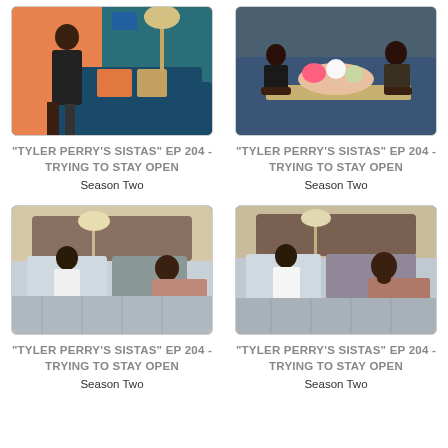[Figure (photo): TV show still from Tyler Perry's Sistas EP 204 - woman in black top standing in colorful living room]
"TYLER PERRY'S SISTAS" EP 204 - TRYING TO STAY OPEN
Season Two
[Figure (photo): TV show still from Tyler Perry's Sistas EP 204 - people sitting around table with floral centerpiece]
"TYLER PERRY'S SISTAS" EP 204 - TRYING TO STAY OPEN
Season Two
[Figure (photo): TV show still from Tyler Perry's Sistas EP 204 - two women talking on a bed]
"TYLER PERRY'S SISTAS" EP 204 - TRYING TO STAY OPEN
Season Two
[Figure (photo): TV show still from Tyler Perry's Sistas EP 204 - two women talking on a bed, different angle]
"TYLER PERRY'S SISTAS" EP 204 - TRYING TO STAY OPEN
Season Two